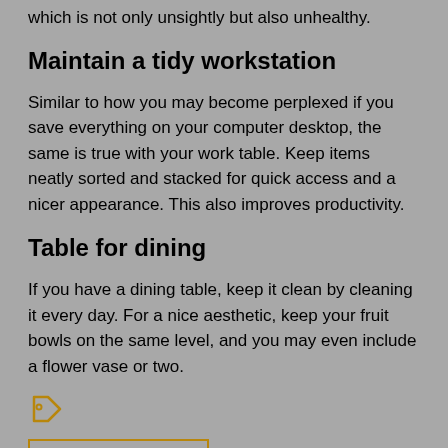which is not only unsightly but also unhealthy.
Maintain a tidy workstation
Similar to how you may become perplexed if you save everything on your computer desktop, the same is true with your work table. Keep items neatly sorted and stacked for quick access and a nicer appearance. This also improves productivity.
Table for dining
If you have a dining table, keep it clean by cleaning it every day. For a nice aesthetic, keep your fruit bowls on the same level, and you may even include a flower vase or two.
[Figure (other): Tag/label icon in golden-yellow outline]
Cleaning In Australia